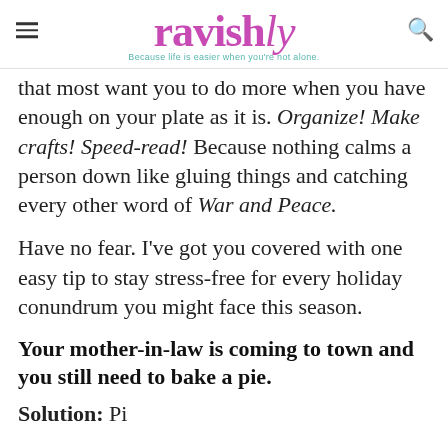ravishly — Because life is easier when you're not alone.
that most want you to do more when you have enough on your plate as it is. Organize! Make crafts! Speed-read! Because nothing calms a person down like gluing things and catching every other word of War and Peace.
Have no fear. I've got you covered with one easy tip to stay stress-free for every holiday conundrum you might face this season.
Your mother-in-law is coming to town and you still need to bake a pie.
Solution: Pick up a...